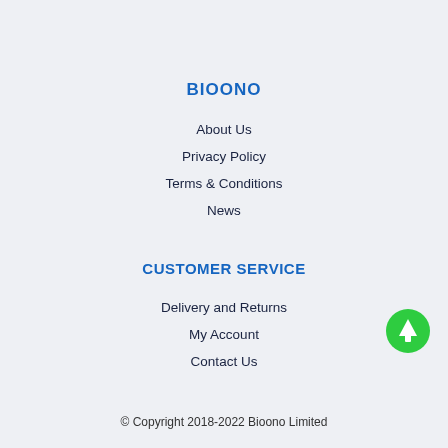BIOONO
About Us
Privacy Policy
Terms & Conditions
News
CUSTOMER SERVICE
Delivery and Returns
My Account
Contact Us
[Figure (illustration): Green circular scroll-to-top button with white upward arrow]
© Copyright 2018-2022 Bioono Limited